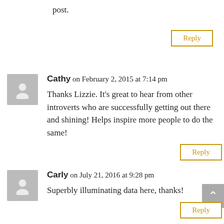post.
Reply
Cathy on February 2, 2015 at 7:14 pm
Thanks Lizzie. It’s great to hear from other introverts who are successfully getting out there and shining! Helps inspire more people to do the same!
Reply
Carly on July 21, 2016 at 9:28 pm
Superbly illuminating data here, thanks!
Reply